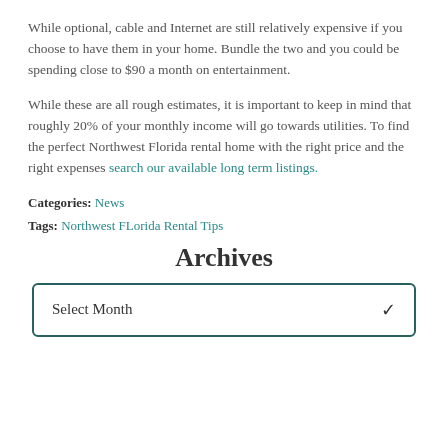While optional, cable and Internet are still relatively expensive if you choose to have them in your home. Bundle the two and you could be spending close to $90 a month on entertainment.
While these are all rough estimates, it is important to keep in mind that roughly 20% of your monthly income will go towards utilities. To find the perfect Northwest Florida rental home with the right price and the right expenses search our available long term listings.
Categories: News
Tags: Northwest FLorida Rental Tips
Archives
Select Month